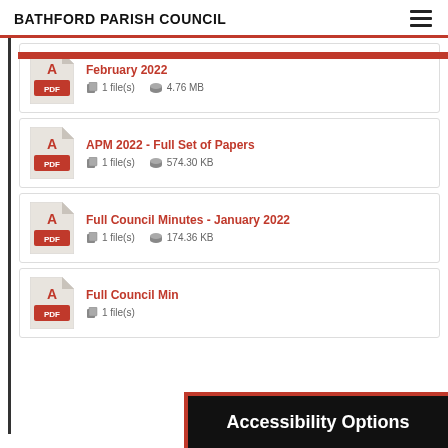BATHFORD PARISH COUNCIL
February 2022 | 1 file(s) | 4.76 MB
APM 2022 - Full Set of Papers | 1 file(s) | 574.30 KB
Full Council Minutes - January 2022 | 1 file(s) | 174.36 KB
Full Council Minutes (partial) | 1 file(s)
Accessibility Options